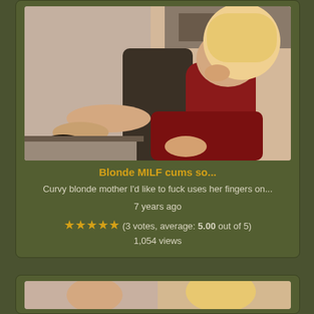[Figure (photo): Photo of a blonde woman in a red outfit in an office setting]
Blonde MILF cums so...
Curvy blonde mother I'd like to fuck uses her fingers on...
7 years ago
(3 votes, average: 5.00 out of 5)
1,054 views
[Figure (photo): Partial photo of a blonde woman, second card]